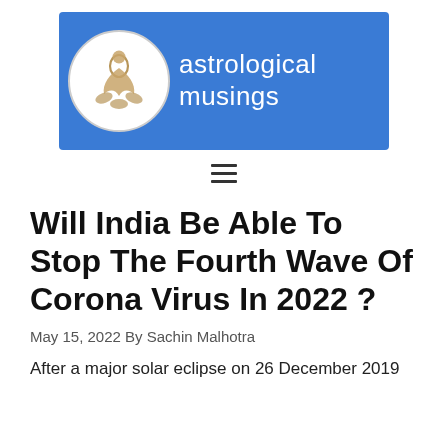[Figure (logo): Astrological Musings logo — blue banner with white circle containing a lotus/figure icon and white text reading 'astrological musings']
[Figure (other): Hamburger menu icon (three horizontal lines)]
Will India Be Able To Stop The Fourth Wave Of Corona Virus In 2022 ?
May 15, 2022 By Sachin Malhotra
After a major solar eclipse on 26 December 2019